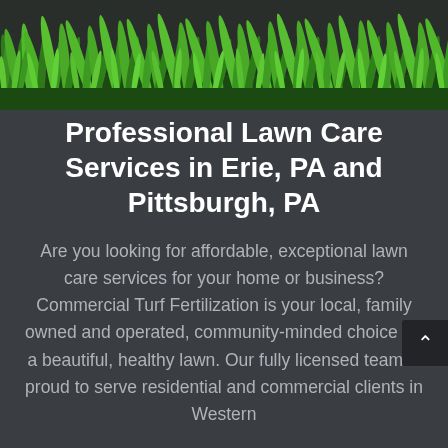[Figure (illustration): Green grass/turf banner image across the top of the page with bright green grass blades against a dark background]
Professional Lawn Care Services in Erie, PA and Pittsburgh, PA
Are you looking for affordable, exceptional lawn care services for your home or business? Commercial Turf Fertilization is your local, family owned and operated, community-minded choice for a beautiful, healthy lawn. Our fully licensed team is proud to serve residential and commercial clients in Western